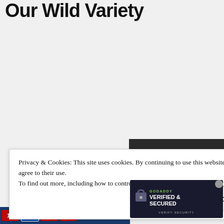Our Wild Variety
Privacy & Cookies: This site uses cookies. By continuing to use this website, you agree to their use.
To find out more, including how to control cookies, see here: Cookie Policy
Close and accept
[Figure (logo): GoDaddy Verified & Secured badge with lock icon]
[Figure (other): Bottom ribbon with category tags 1A, 2A, 3A, 4A on dark blue background]